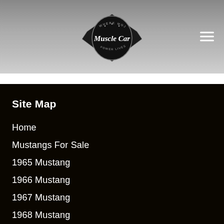[Figure (logo): Muscle Car website logo — shield/wing shape badge with cursive 'Muscle Car' text and tagline 'Where Mojo Poured Lives']
Site Map
Home
Mustangs For Sale
1965 Mustang
1966 Mustang
1967 Mustang
1968 Mustang